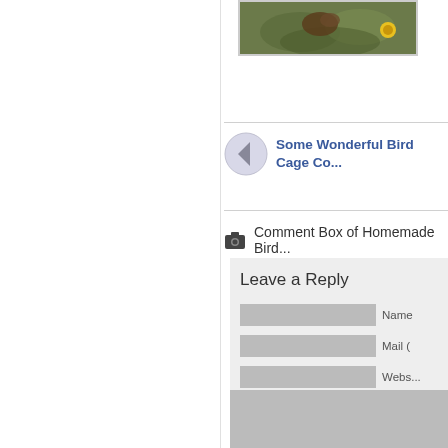[Figure (photo): Partial view of a bird or animal in a garden setting with yellow flowers, clipped at top of page]
Some Wonderful Bird Cage Co...
Comment Box of Homemade Bird...
Leave a Reply
Name
Mail (
Webs...